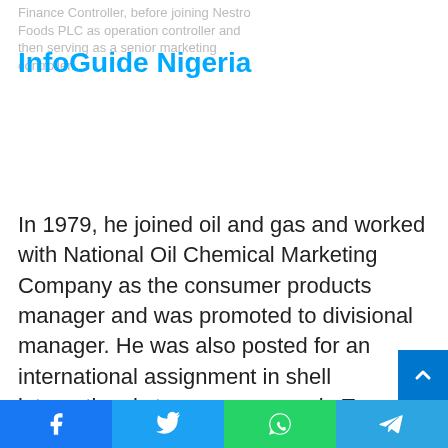InfoGuide Nigeria
Finance Controller, before joining Nestro Foods PLC as operation controller and then serving as a senior marketing controller.
In 1979, he joined oil and gas and worked with National Oil Chemical Marketing Company as the consumer products manager and was promoted to divisional manager. He was also posted for an international assignment in shell international storage company in Togo serving the whole West Africa as chief executive. He voluntarily retired in 2002 after 26 years in oil and gas industry.
Facebook | Twitter | WhatsApp | Telegram